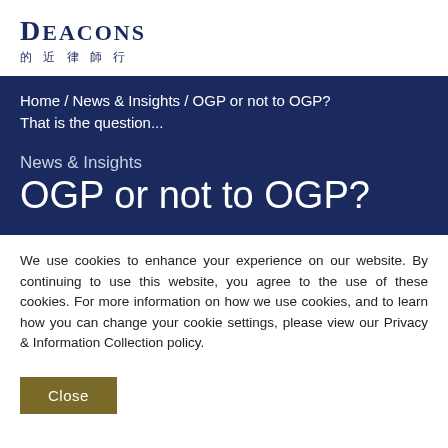[Figure (logo): Deacons law firm logo with English name 'DEACONS' and Chinese characters '的 近 律 師 行']
Home / News & Insights / OGP or not to OGP? That is the question...
News & Insights
OGP or not to OGP?
We use cookies to enhance your experience on our website. By continuing to use this website, you agree to the use of these cookies. For more information on how we use cookies, and to learn how you can change your cookie settings, please view our Privacy & Information Collection policy.
Close